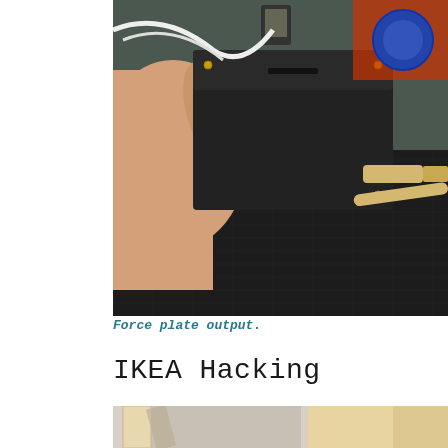[Figure (photo): A hand holding a black rectangular force plate electronics enclosure with a USB cable plugged into it, sitting on a cutting mat. Various electronic components and wires are visible in the background.]
Force plate output.
IKEA Hacking
[Figure (photo): Close-up of light-colored wooden frame or furniture pieces, showing the corner joint or underside of a wooden structure against a plain background.]